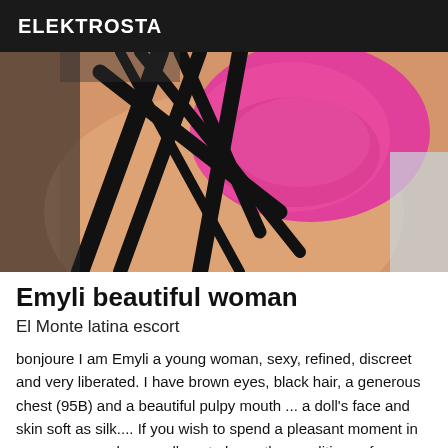ELEKTROSTA
[Figure (photo): Close-up photo of a woman wearing a pink bra with black straps forming an intricate pattern across her back and torso]
Emyli beautiful woman
El Monte latina escort
bonjoure I am Emyli a young woman, sexy, refined, discreet and very liberated. I have brown eyes, black hair, a generous chest (95B) and a beautiful pulpy mouth ... a doll's face and skin soft as silk.... If you wish to spend a pleasant moment in my company, please call me to know the conditions of a meeting with me and to